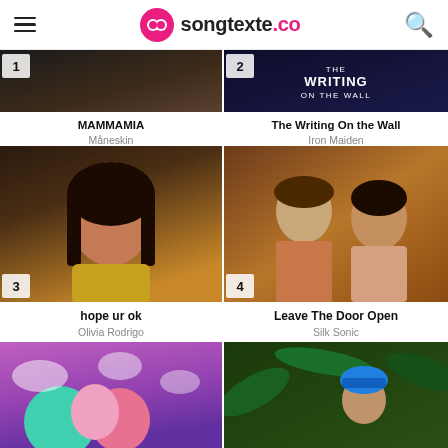songtexte.co
[Figure (photo): Partial image of Maneskin artist, rank 1 badge]
MAMMAMIA
Måneskin
[Figure (photo): The Writing on the Wall album art, Iron Maiden, rank 2 badge]
The Writing On the Wall
Iron Maiden
[Figure (photo): Olivia Rodrigo photo, young woman in yellow sweater, rank 3 badge]
hope ur ok
Olivia Rodrigo
[Figure (photo): Silk Sonic two men in retro outfits, rank 4 badge]
Leave The Door Open
Silk Sonic
[Figure (photo): Colorful cotton candy on purple/pink sky background, rank 5]
[Figure (photo): Two people in green/tropical setting with blue cap, rank 6]